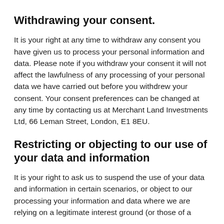Withdrawing your consent.
It is your right at any time to withdraw any consent you have given us to process your personal information and data. Please note if you withdraw your consent it will not affect the lawfulness of any processing of your personal data we have carried out before you withdrew your consent. Your consent preferences can be changed at any time by contacting us at Merchant Land Investments Ltd, 66 Leman Street, London, E1 8EU.
Restricting or objecting to our use of your data and information
It is your right to ask us to suspend the use of your data and information in certain scenarios, or object to our processing your information and data where we are relying on a legitimate interest ground (or those of a